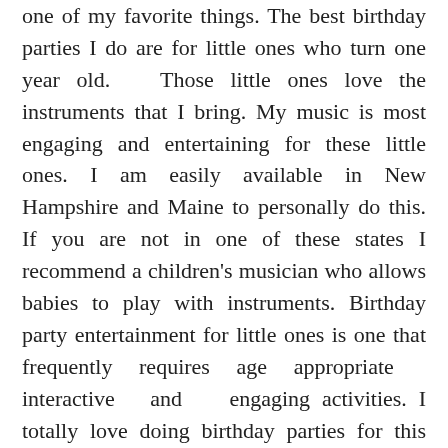one of my favorite things. The best birthday parties I do are for little ones who turn one year old. Those little ones love the instruments that I bring. My music is most engaging and entertaining for these little ones. I am easily available in New Hampshire and Maine to personally do this. If you are not in one of these states I recommend a children's musician who allows babies to play with instruments. Birthday party entertainment for little ones is one that frequently requires age appropriate interactive and engaging activities. I totally love doing birthday parties for this reason.

This particular party pictured is one for a little